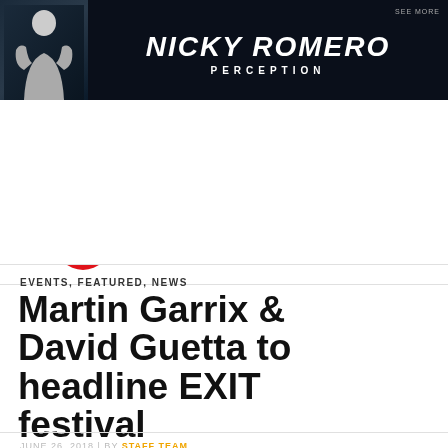[Figure (illustration): Nicky Romero Perception advertisement banner with dark background, figure of person on left, bold white italic text reading NICKY ROMERO and PERCEPTION, SEE MORE in top right]
[Figure (logo): We Rave You logo: red circle with WRY emblem icon followed by bold text WE RAVE YOU, hamburger menu icon on left]
EVENTS, FEATURED, NEWS
Martin Garrix & David Guetta to headline EXIT festival
JUNE 26, 2018 | BY STAFF TEAM